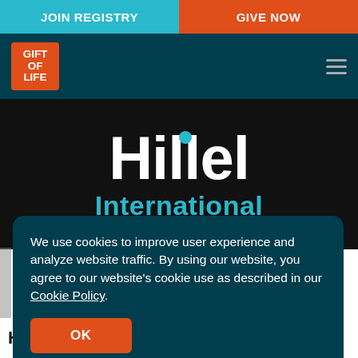JOIN REGISTRY | GIVE NOW
[Figure (logo): Gift of Life logo in orange square, and Hillel International logo on dark background]
Hillel International
We use cookies to improve user experience and analyze website traffic. By using our website, you agree to our website's cookie use as described in our Cookie Policy.
OK
Hillel International